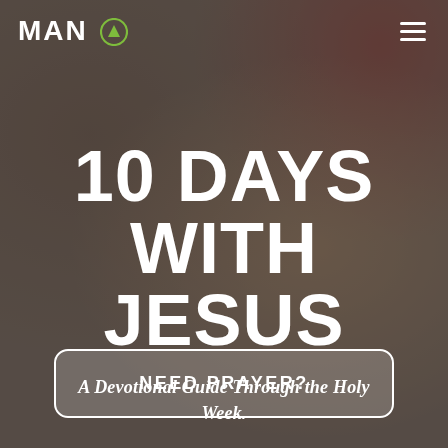MAN [logo with up-arrow circle icon] [hamburger menu]
10 DAYS WITH JESUS
A Devotional Guide Through the Holy Week.
NEED PRAYER?